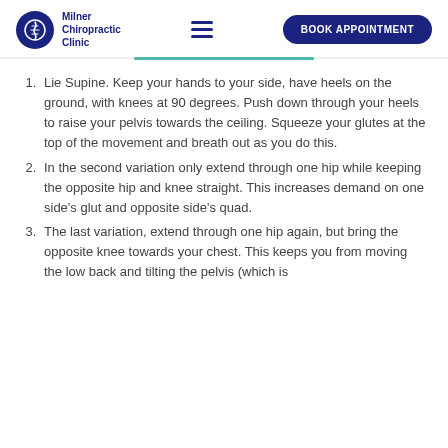Milner Chiropractic Clinic — BOOK APPOINTMENT
Lie Supine. Keep your hands to your side, have heels on the ground, with knees at 90 degrees. Push down through your heels to raise your pelvis towards the ceiling. Squeeze your glutes at the top of the movement and breath out as you do this.
In the second variation only extend through one hip while keeping the opposite hip and knee straight. This increases demand on one side's glut and opposite side's quad.
The last variation, extend through one hip again, but bring the opposite knee towards your chest. This keeps you from moving the low back and tilting the pelvis (which is